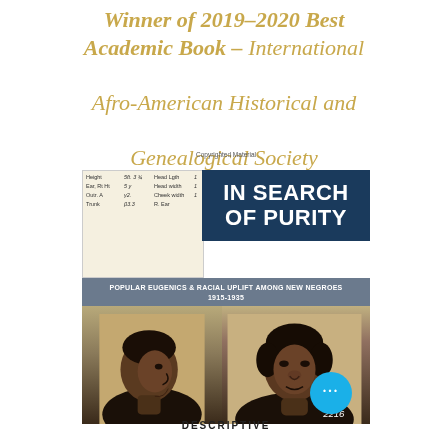Winner of 2019–2020 Best Academic Book – International Afro-American Historical and Genealogical Society
[Figure (photo): Book cover of 'In Search of Purity: Popular Eugenics & Racial Uplift Among New Negroes 1915-1935' showing historical mugshot-style photographs of two young Black women, one in profile and one facing forward, with a record card visible in the upper left corner. A blue circular button with three dots appears in the lower right.]
DESCRIPTIVE